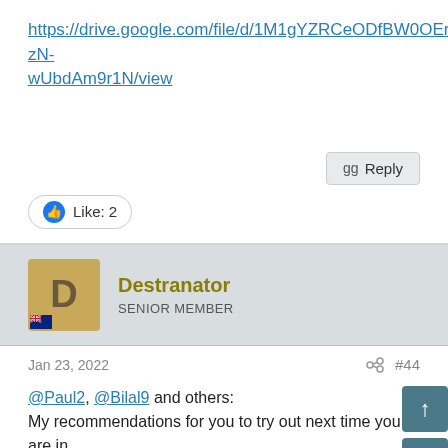https://drive.google.com/file/d/1M1gYZRCeODfBW0OEri-zN-wUbdAm9r1N/view
Reply
Like: 2
Destranator
SENIOR MEMBER
Jan 23, 2022
#44
@Paul2, @Bilal9 and others:
My recommendations for you to try out next time you are in Dhaka:
Renaissance Dhaka Gulshan Hotel - buffet dinner at